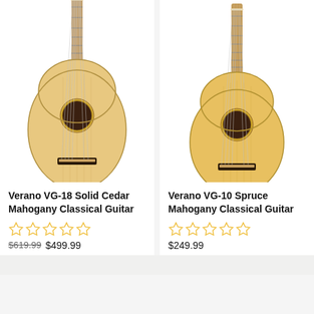[Figure (photo): Verano VG-18 Solid Cedar Mahogany Classical Guitar product photo showing full front view of a classical guitar with natural wood finish]
Verano VG-18 Solid Cedar Mahogany Classical Guitar
[Figure (other): 5 empty gold star rating icons]
$619.99 $499.99
[Figure (photo): Verano VG-10 Spruce Mahogany Classical Guitar product photo showing full front view of a classical guitar with natural wood finish]
Verano VG-10 Spruce Mahogany Classical Guitar
[Figure (other): 5 empty gold star rating icons]
$249.99